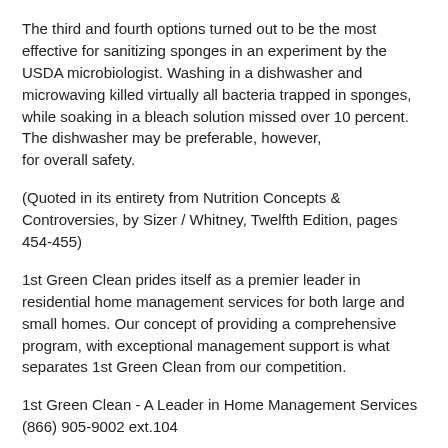The third and fourth options turned out to be the most effective for sanitizing sponges in an experiment by the USDA microbiologist. Washing in a dishwasher and microwaving killed virtually all bacteria trapped in sponges, while soaking in a bleach solution missed over 10 percent.  The dishwasher may be preferable, however, for overall safety.
(Quoted in its entirety from Nutrition Concepts & Controversies, by Sizer / Whitney, Twelfth Edition, pages 454-455)
1st Green Clean prides itself as a premier leader in residential home management services for both large and small homes. Our concept of providing a comprehensive program, with exceptional management support is what separates 1st Green Clean from our competition.
1st Green Clean - A Leader in Home Management Services
(866) 905-9002 ext.104
Proudly serving the Washington, D.C. Metro Area since 2007.